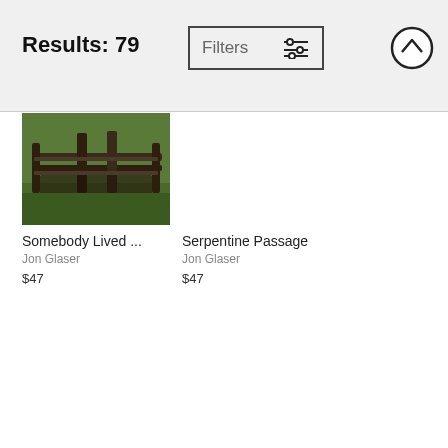Results: 79
Filters
[Figure (photo): Photograph of an old wooden fence or bench structure in a grassy outdoor setting]
Somebody Lived ...
Jon Glaser
$47
Serpentine Passage
Jon Glaser
$47